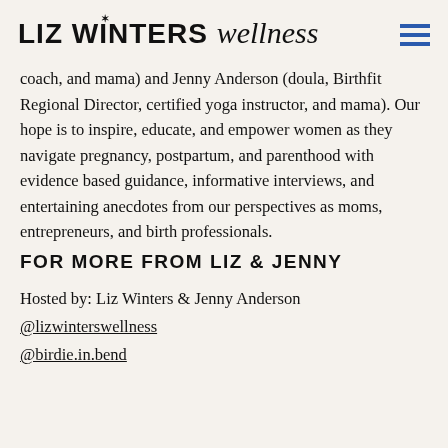LIZ WINTERS wellness
coach, and mama) and Jenny Anderson (doula, Birthfit Regional Director, certified yoga instructor, and mama). Our hope is to inspire, educate, and empower women as they navigate pregnancy, postpartum, and parenthood with evidence based guidance, informative interviews, and entertaining anecdotes from our perspectives as moms, entrepreneurs, and birth professionals.
FOR MORE FROM LIZ & JENNY
Hosted by: Liz Winters & Jenny Anderson
@lizwinterswellness
@birdie.in.bend